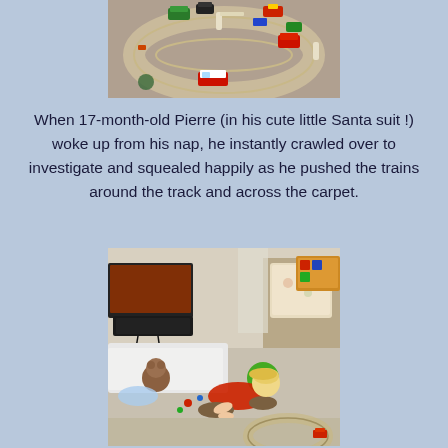[Figure (photo): Aerial view of a wooden toy train track set with colorful toy trains and vehicles arranged on the track layout on a carpet floor]
When 17-month-old Pierre (in his cute little Santa suit !) woke up from his nap, he instantly crawled over to investigate and squealed happily as he pushed the trains around the track and across the carpet.
[Figure (photo): A toddler in a red outfit crawling on a carpeted floor toward a wooden toy train track set, with a living room background showing a TV, furniture, and toys]